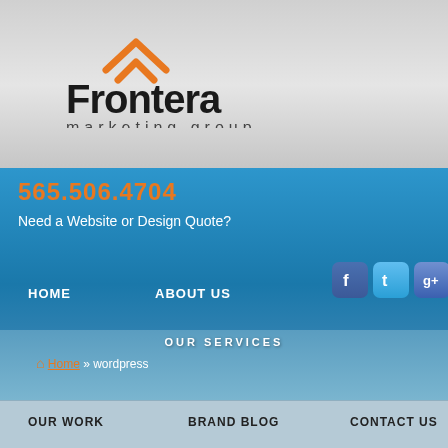[Figure (logo): Frontera Marketing Group logo with orange roof/mountain icon and company name in dark gray]
565.506.4704
Need a Website or Design Quote?
HOME
ABOUT US
[Figure (other): Social media icons row: Facebook, Twitter, Google+, LinkedIn, YouTube]
OUR SERVICES
Home » wordpress
OUR WORK
BRAND BLOG
CONTACT US
The Ultimate Brand Blog WordPress Multisite Domain
[Figure (other): Search input field with GO button and reCAPTCHA widget]